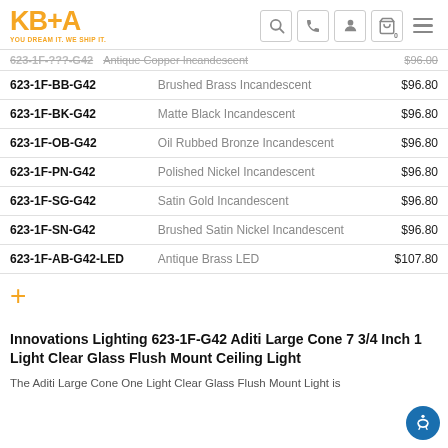[Figure (logo): KB+A logo with tagline YOU DREAM IT. WE SHIP IT.]
[Figure (screenshot): Navigation icons: search, phone, account, cart (0), hamburger menu]
| SKU | Description | Price |
| --- | --- | --- |
| 623-1F-BB-G42 | Brushed Brass Incandescent | $96.80 |
| 623-1F-BK-G42 | Matte Black Incandescent | $96.80 |
| 623-1F-OB-G42 | Oil Rubbed Bronze Incandescent | $96.80 |
| 623-1F-PN-G42 | Polished Nickel Incandescent | $96.80 |
| 623-1F-SG-G42 | Satin Gold Incandescent | $96.80 |
| 623-1F-SN-G42 | Brushed Satin Nickel Incandescent | $96.80 |
| 623-1F-AB-G42-LED | Antique Brass LED | $107.80 |
+
Innovations Lighting 623-1F-G42 Aditi Large Cone 7 3/4 Inch 1 Light Clear Glass Flush Mount Ceiling Light
The Aditi Large Cone One Light Clear Glass Flush Mount Light is